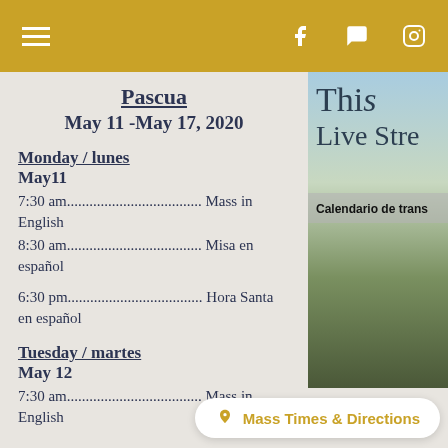Navigation bar with hamburger menu, Facebook, chat, and Instagram icons
Pascua
May 11 -May 17, 2020
Monday / lunes
May11
7:30 am.................................... Mass in English
8:30 am.................................... Misa en español
6:30 pm.................................... Hora Santa en español
Tuesday / martes
May 12
7:30 am.................................... Mass in English
[Figure (photo): Partial view of a church or religious building with text 'This Live Stre' and 'Calendario de trans']
Mass Times & Directions